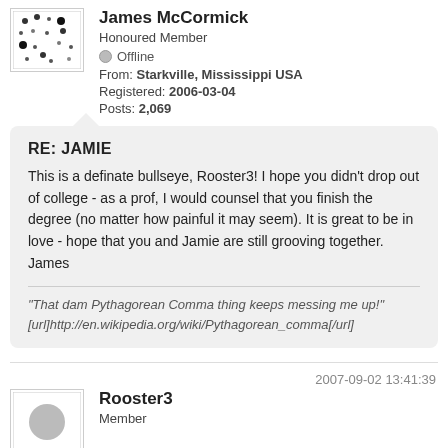[Figure (illustration): Avatar image with dot pattern for James McCormick]
James McCormick
Honoured Member
Offline
From: Starkville, Mississippi USA
Registered: 2006-03-04
Posts: 2,069
RE: JAMIE
This is a definate bullseye, Rooster3!  I hope you didn't drop out of college - as a prof, I would counsel that you finish the degree (no matter how painful it may seem).  It is great to be in love - hope that you and Jamie are still grooving together.  James
"That dam Pythagorean Comma thing keeps messing me up!"
[url]http://en.wikipedia.org/wiki/Pythagorean_comma[/url]
2007-09-02 13:41:39
[Figure (illustration): Avatar image with gray circle for Rooster3]
Rooster3
Member